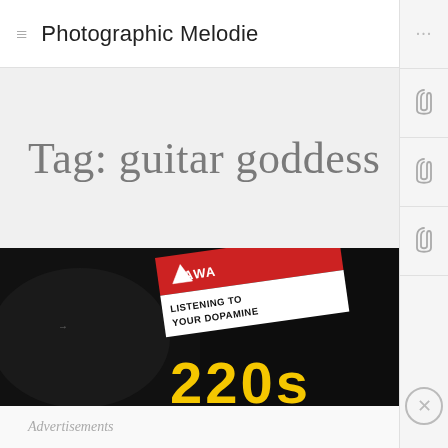Photographic Melodie
Tag: guitar goddess
[Figure (photo): Dark close-up photo of a guitar or music-related item with a warning sticker reading 'LISTENING TO YOUR DOPAMINE' in red/white label design, and yellow text '220s' visible at the bottom.]
Advertisements